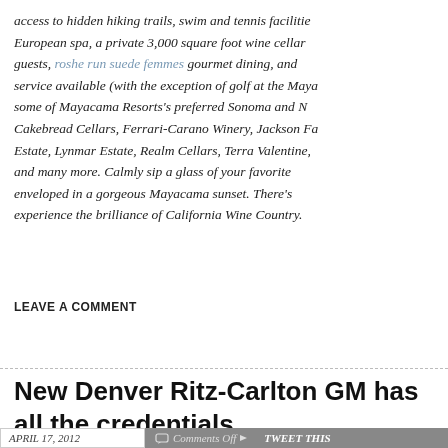access to hidden hiking trails, swim and tennis facilities, a European spa, a private 3,000 square foot wine cellar for guests, roshe run suede femmes gourmet dining, and service available (with the exception of golf at the Mayacama some of Mayacama Resorts's preferred Sonoma and Napa Cakebread Cellars, Ferrari-Carano Winery, Jackson Family Estate, Lynmar Estate, Realm Cellars, Terra Valentine, and many more. Calmly sip a glass of your favorite enveloped in a gorgeous Mayacama sunset. There's experience the brilliance of California Wine Country.
LEAVE A COMMENT
New Denver Ritz-Carlton GM has all the credentials
APRIL 17, 2012   Comments Off   TWEET THIS